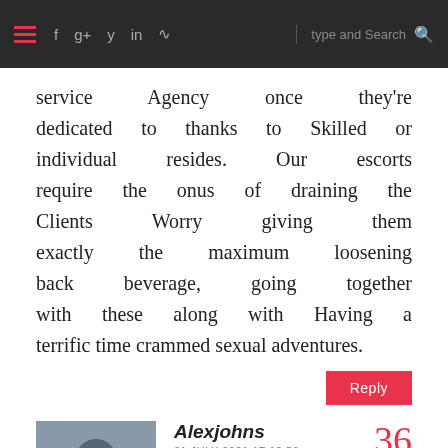Navigation bar with hamburger menu, social icons (f, g+, y, in, RSS), search input
service Agency once they're dedicated to thanks to Skilled or individual resides. Our escorts require the onus of draining the Clients Worry giving them exactly the maximum loosening back beverage, going together with these along with Having a terrific time crammed sexual adventures.
Reply
[Figure (photo): Avatar photo of a person in dark jacket]
Alexjohns
31 JULY 2021 AT 13:58
36
If you are facing hair loss problems and have significant recession or hair thinning then a